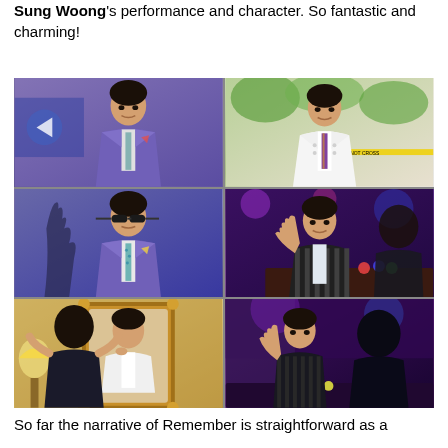Sung Woong's performance and character. So fantastic and charming!
[Figure (photo): A 3x2 grid of six photographs showing the same Korean actor in various scenes and outfits. Top-left: man in purple blazer with floral tie in an indoor setting. Top-right: man in white double-breasted suit with striped tie outdoors near crime scene tape. Middle-left: man in purple blazer and sunglasses indoors near a sculpture. Middle-right: man in striped jacket at a nightclub/casino table with poker chips. Bottom-left: man in white dress shirt adjusting tie in front of an ornate mirror. Bottom-right: man gesturing at a dark nightclub/casino setting.]
So far the narrative of Remember is straightforward as a